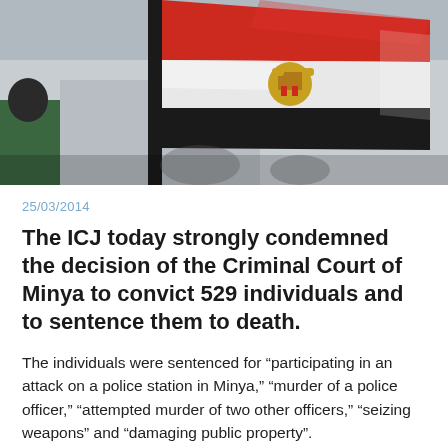[Figure (photo): Photograph of an Egyptian flag being waved, showing red, white, and black horizontal stripes with the Eagle of Saladin coat of arms in the center. A person in a green jacket is partially visible on the left, with a building in the background.]
25/03/2014
The ICJ today strongly condemned the decision of the Criminal Court of Minya to convict 529 individuals and to sentence them to death.
The individuals were sentenced for “participating in an attack on a police station in Minya,” “murder of a police officer,” “attempted murder of two other officers,” “seizing weapons” and “damaging public property”.